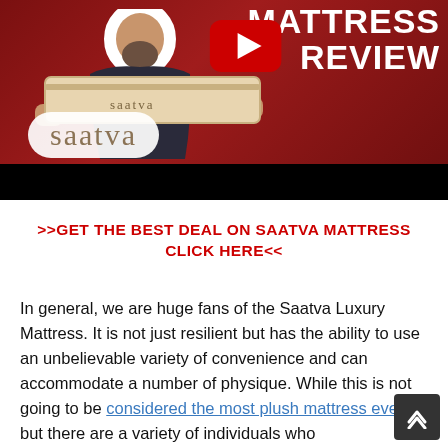[Figure (screenshot): YouTube video thumbnail for Saatva Mattress Review. Dark red background with a man holding a mattress box, Saatva logo in white bubble bottom-left, YouTube play button in center, text 'MATTRESS REVIEW' top right, black bar at bottom.]
>>GET THE BEST DEAL ON SAATVA MATTRESS CLICK HERE<<
In general, we are huge fans of the Saatva Luxury Mattress. It is not just resilient but has the ability to use an unbelievable variety of convenience and can accommodate a number of physique. While this is not going to be considered the most plush mattress ever, but there are a variety of individuals who